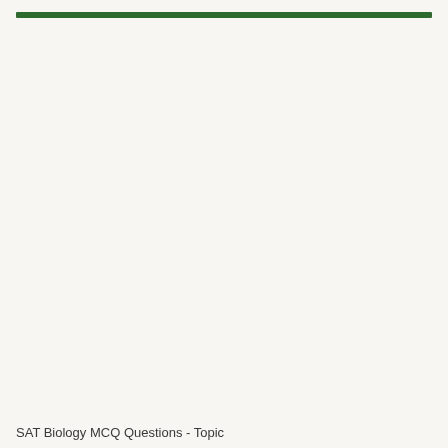SAT Biology MCQ Questions - Topic